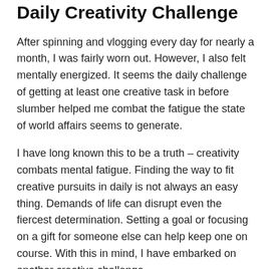Daily Creativity Challenge
After spinning and vlogging every day for nearly a month, I was fairly worn out. However, I also felt mentally energized. It seems the daily challenge of getting at least one creative task in before slumber helped me combat the fatigue the state of world affairs seems to generate.
I have long known this to be a truth – creativity combats mental fatigue. Finding the way to fit creative pursuits in daily is not always an easy thing. Demands of life can disrupt even the fiercest determination. Setting a goal or focusing on a gift for someone else can help keep one on course. With this in mind, I have embarked on another creative challenge.
The Christmas Countdown Collection. It would be more aptly be called the Holiday or New Year's Day Countdown